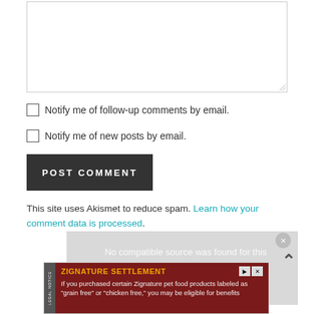[Figure (screenshot): Empty textarea input field with resize handle at bottom right]
Notify me of follow-up comments by email.
Notify me of new posts by email.
[Figure (screenshot): POST COMMENT button, dark grey background with white uppercase text]
This site uses Akismet to reduce spam. Learn how your comment data is processed.
[Figure (screenshot): Media player grey box showing 'No compatible source was found for this' with ABOUT ME heading partially visible, scroll-up arrow button on right, close button]
[Figure (screenshot): Legal notice ad banner: ZIGNATURE SETTLEMENT - If you purchased certain Zignature pet food products labeled as 'grain free' or 'chicken free,' you may be eligible for benefits]